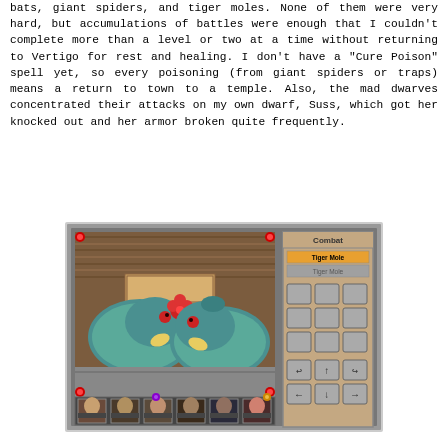bats, giant spiders, and tiger moles. None of them were very hard, but accumulations of battles were enough that I couldn't complete more than a level or two at a time without returning to Vertigo for rest and healing. I don't have a "Cure Poison" spell yet, so every poisoning (from giant spiders or traps) means a return to town to a temple. Also, the mad dwarves concentrated their attacks on my own dwarf, Suss, which got her knocked out and her armor broken quite frequently.
[Figure (screenshot): A retro RPG game screenshot showing a combat scene with two tiger moles (blue elephant-like creatures) in a dungeon environment. The interface shows a combat panel on the right listing 'Tiger Mole' enemies, action buttons, navigation buttons, and character portraits along the bottom.]